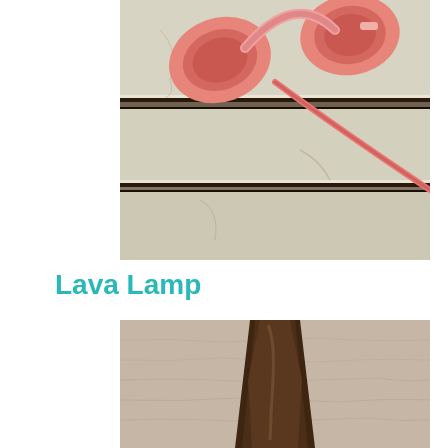[Figure (photo): Pink/coral headphones lying on a white distressed wooden surface, viewed from above]
Lava Lamp
[Figure (photo): Bottom portion of a dark brown lava lamp base against a beige/tan textured background]